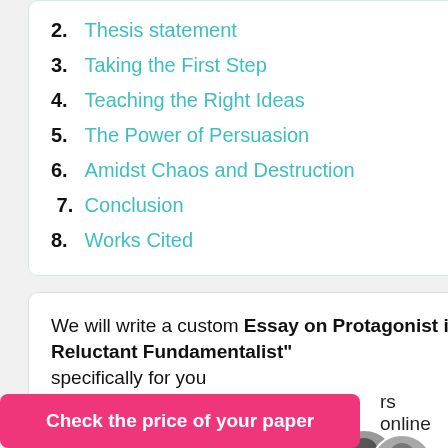2. Thesis statement
3. Taking the First Step
4. Teaching the Right Ideas
5. The Power of Persuasion
6. Amidst Chaos and Destruction
7. Conclusion
8. Works Cited
We will write a custom Essay on Protagonist in Hamid’s “The Reluctant Fundamentalist” specifically for you for only $16.05 $11/page
[Figure (photo): Cluster of three circular avatar/profile photos of writers, with a green online status dot]
Check the price of your paper
rs online